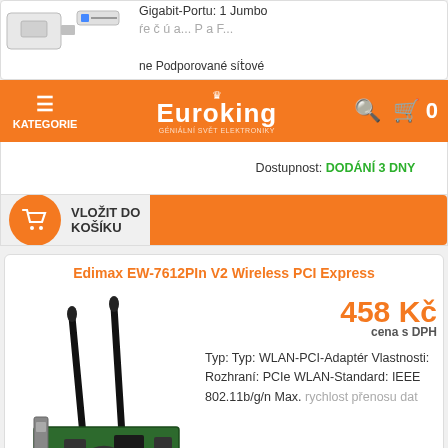Euroking — KATEGORIE navigation bar
Gigabit-Portu: 1 Jumbo ... ne Podporované sítové
Dostupnost: DODÁNÍ 3 DNY
VLOŽIT DO KOŠÍKU
Edimax EW-7612PIn V2 Wireless PCI Express
458 Kč
cena s DPH
Typ: Typ: WLAN-PCI-Adaptér Vlastnosti: Rozhraní: PCIe WLAN-Standard: IEEE 802.11b/g/n Max. rychlost přenosu dat
Dostupnost: DODÁNÍ 3 DNY